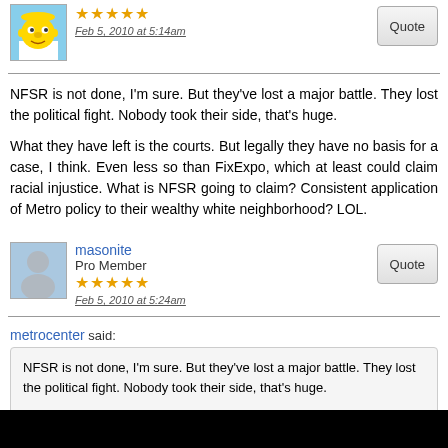[Figure (illustration): Homer Simpson avatar image, cartoon character with yellow skin]
★★★★★
Feb 5, 2010 at 5:14am
NFSR is not done, I'm sure. But they've lost a major battle. They lost the political fight. Nobody took their side, that's huge.

What they have left is the courts. But legally they have no basis for a case, I think. Even less so than FixExpo, which at least could claim racial injustice. What is NFSR going to claim? Consistent application of Metro policy to their wealthy white neighborhood? LOL.
masonite
Pro Member
★★★★★
Feb 5, 2010 at 5:24am
metrocenter said:
NFSR is not done, I'm sure. But they've lost a major battle. They lost the political fight. Nobody took their side, that's huge.

What they have left is the courts. But legally they have no basis for a case, I think. Even less so than FixExpo, which at least could claim racial injustice. What is NFSR going to claim? Consistent